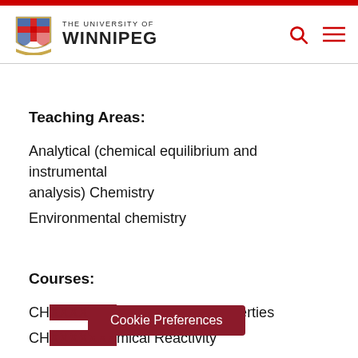THE UNIVERSITY OF WINNIPEG
Teaching Areas:
Analytical (chemical equilibrium and instrumental analysis) Chemistry
Environmental chemistry
Courses:
CHE… Introduction to Chemical Properties
CHE… …mical Reactivity
Cookie Preferences